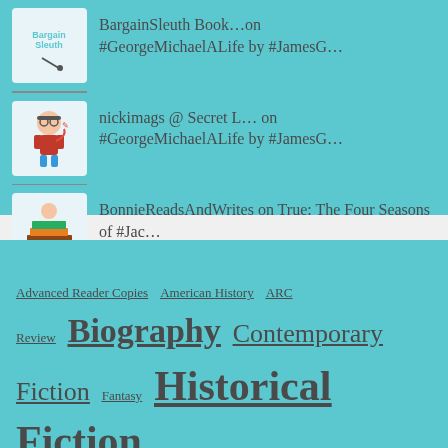BargainSleuth Book...on #GeorgeMichaelALife by #JamesG...
nickimags @ Secret L... on #GeorgeMichaelALife by #JamesG...
BonnieReadsAndWrites on True: The Four Seasons of #Jac...
Advanced Reader Copies  American History  ARC  Review  Biography  Contemporary Fiction  Fantasy  Historical Fiction  Hollywood  Kindle Deals  Music  Mystery  Nancy